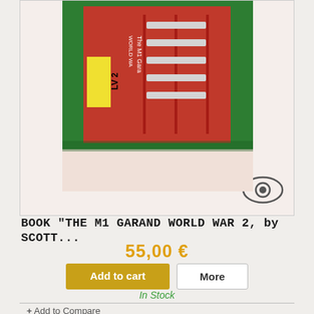[Figure (photo): Product photo of a red book titled 'The M1 Garand World War 2' placed on a green surface, with a yellow label sticker 'LV 2' on the spine. A watermark eye logo appears in the bottom-right corner of the image frame.]
BOOK "THE M1 GARAND WORLD WAR 2, by SCOTT...
55,00 €
Add to cart
More
In Stock
+ Add to Compare